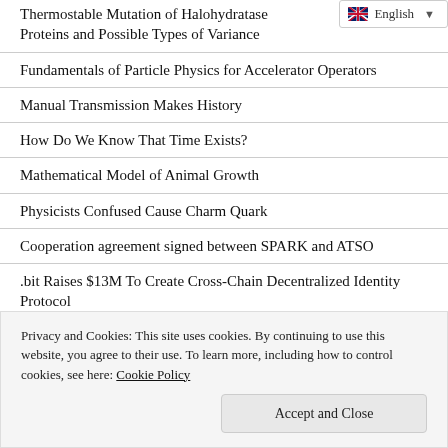Thermostable Mutation of Halohydratase Proteins and Possible Types of Variance
Fundamentals of Particle Physics for Accelerator Operators
Manual Transmission Makes History
How Do We Know That Time Exists?
Mathematical Model of Animal Growth
Physicists Confused Cause Charm Quark
Cooperation agreement signed between SPARK and ATSO
.bit Raises $13M To Create Cross-Chain Decentralized Identity Protocol
New AI Algorithm Could Breakthrough In Epilensy
Privacy and Cookies: This site uses cookies. By continuing to use this website, you agree to their use. To learn more, including how to control cookies, see here: Cookie Policy
Physicist Trolls Followers With Sausage Photo